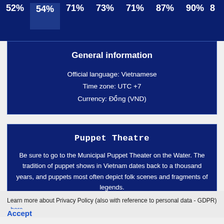[Figure (other): Top percentage bar row showing values: 52%, 54%, 71%, 73%, 71%, 87%, 90%, 8... (partially cut off), on a dark navy background]
General information
Official language: Vietnamese
Time zone: UTC +7
Currency: Đồng (VND)
Puppet Theatre
Be sure to go to the Municipal Puppet Theater on the Water. The tradition of puppet shows in Vietnam dates back to a thousand years, and puppets most often depict folk scenes and fragments of legends.
Learn more about Privacy Policy (also with reference to personal data - GDPR) - here.
Accept